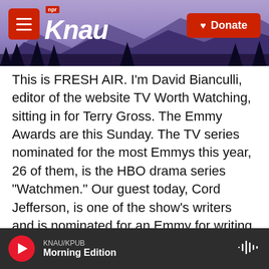[Figure (screenshot): KNAU NPR radio station website header with mountain/purple sky background, red hamburger menu button on left, KNAU logo in white italic text with NPR red label, and red Donate button with heart icon on right]
This is FRESH AIR. I'm David Bianculli, editor of the website TV Worth Watching, sitting in for Terry Gross. The Emmy Awards are this Sunday. The TV series nominated for the most Emmys this year, 26 of them, is the HBO drama series "Watchmen." Our guest today, Cord Jefferson, is one of the show's writers and is nominated for an Emmy for writing Episode 6. Terry interviewed Cord Jefferson last month, and I'll let her take it from here.
(SOUNDBITE OF ARCHIVED NPR BROADCAST)
TERRY GROSS: "Watchmen" is based on the graphic
KNAU/KPUB
Morning Edition